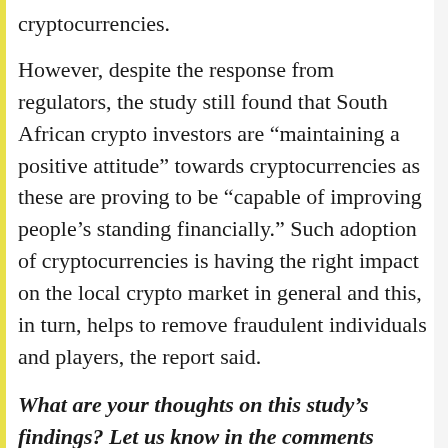cryptocurrencies.
However, despite the response from regulators, the study still found that South African crypto investors are “maintaining a positive attitude” towards cryptocurrencies as these are proving to be “capable of improving people’s standing financially.” Such adoption of cryptocurrencies is having the right impact on the local crypto market in general and this, in turn, helps to remove fraudulent individuals and players, the report said.
What are your thoughts on this study’s findings? Let us know in the comments section